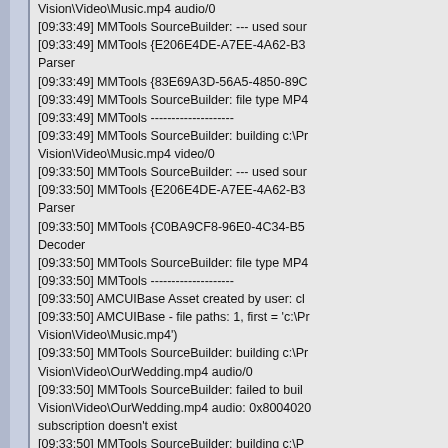Vision\Video\Music.mp4 audio/0
[09:33:49] MMTools SourceBuilder: --- used sour
[09:33:49] MMTools {E206E4DE-A7EE-4A62-B3
Parser
[09:33:49] MMTools {83E69A3D-56A5-4850-89C
[09:33:49] MMTools SourceBuilder: file type MP4
[09:33:49] MMTools --------------------
[09:33:49] MMTools SourceBuilder: building c:\Pr
Vision\Video\Music.mp4 video/0
[09:33:50] MMTools SourceBuilder: --- used sour
[09:33:50] MMTools {E206E4DE-A7EE-4A62-B3
Parser
[09:33:50] MMTools {C0BA9CF8-96E0-4C34-B5
Decoder
[09:33:50] MMTools SourceBuilder: file type MP4
[09:33:50] MMTools --------------------
[09:33:50] AMCUIBase Asset created by user: cl
[09:33:50] AMCUIBase - file paths: 1, first = 'c:\P
Vision\Video\Music.mp4')
[09:33:50] MMTools SourceBuilder: building c:\Pr
Vision\Video\OurWedding.mp4 audio/0
[09:33:50] MMTools SourceBuilder: failed to buil
Vision\Video\OurWedding.mp4 audio: 0x8004020
subscription doesn't exist
[09:33:50] MMTools SourceBuilder: building c:\P